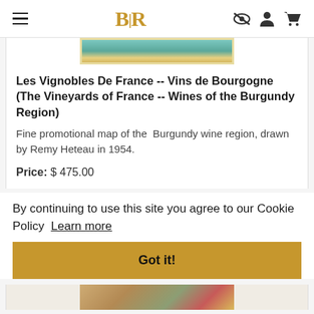BLR (logo with hamburger menu and icons)
[Figure (illustration): Partial view of a decorative vintage map/poster of French wine region with blue and gold colors at top]
Les Vignobles De France -- Vins de Bourgogne (The Vineyards of France -- Wines of the Burgundy Region)
Fine promotional map of the Burgundy wine region, drawn by Remy Heteau in 1954.
Price: $ 475.00
By continuing to use this site you agree to our Cookie Policy  Learn more
Got it!
[Figure (illustration): Partial view of another decorative vintage map/poster at bottom of page]